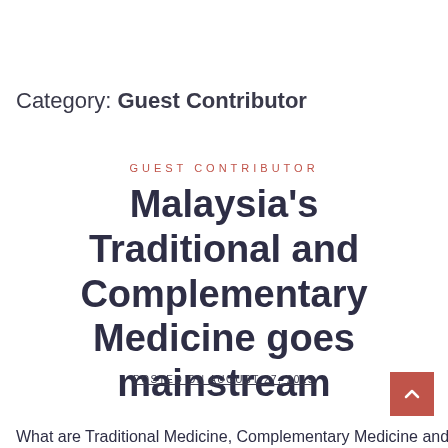Category: Guest Contributor
GUEST CONTRIBUTOR
Malaysia's Traditional and Complementary Medicine goes mainstream
POSTED ON AUGUST 27, 2019
What are Traditional Medicine, Complementary Medicine and